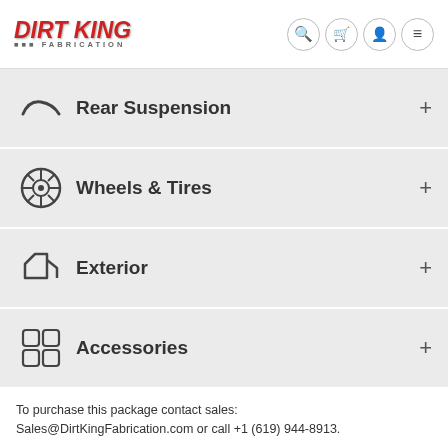[Figure (logo): Dirt King Fabrication logo with red/grey italic text]
Rear Suspension
Wheels & Tires
Exterior
Accessories
To purchase this package contact sales: Sales@DirtKingFabrication.com or call +1 (619) 944-8913.
Items not included with parts
Items not included with parts and installation